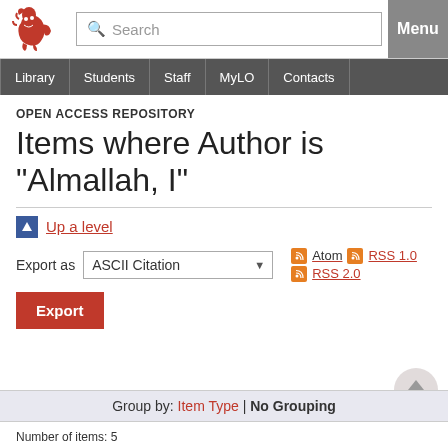Search | Menu | Library | Students | Staff | MyLO | Contacts
OPEN ACCESS REPOSITORY
Items where Author is "Almallah, I"
Up a level
Export as ASCII Citation | Export | Atom | RSS 1.0 | RSS 2.0
Group by: Item Type | No Grouping
Number of items: 5